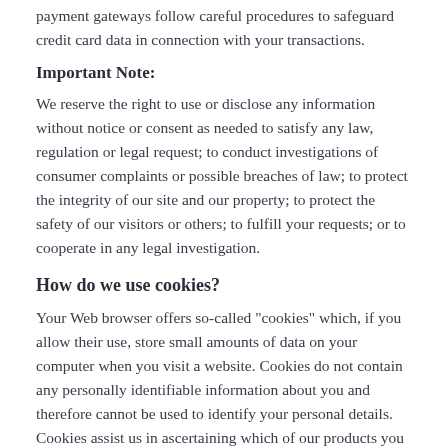payment gateways follow careful procedures to safeguard credit card data in connection with your transactions.
Important Note:
We reserve the right to use or disclose any information without notice or consent as needed to satisfy any law, regulation or legal request; to conduct investigations of consumer complaints or possible breaches of law; to protect the integrity of our site and our property; to protect the safety of our visitors or others; to fulfill your requests; or to cooperate in any legal investigation.
How do we use cookies?
Your Web browser offers so-called "cookies" which, if you allow their use, store small amounts of data on your computer when you visit a website. Cookies do not contain any personally identifiable information about you and therefore cannot be used to identify your personal details. Cookies assist us in ascertaining which of our products you like best. Cookies also enable us to customize our content